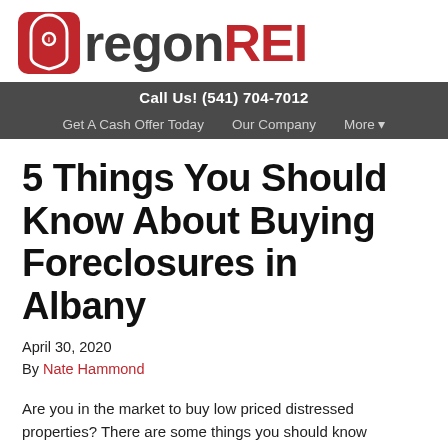[Figure (logo): Oregon REI logo with red house icon and text 'Oregon REI' where REI is in red]
Call Us! (541) 704-7012
Get A Cash Offer Today   Our Company   More ▾
5 Things You Should Know About Buying Foreclosures in Albany
April 30, 2020
By Nate Hammond
Are you in the market to buy low priced distressed properties? There are some things you should know